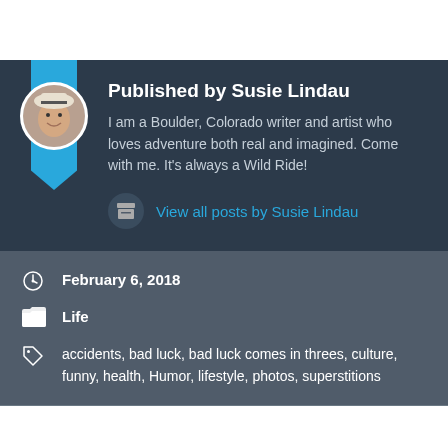Published by Susie Lindau
I am a Boulder, Colorado writer and artist who loves adventure both real and imagined. Come with me. It's always a Wild Ride!
View all posts by Susie Lindau
February 6, 2018
Life
accidents, bad luck, bad luck comes in threes, culture, funny, health, Humor, lifestyle, photos, superstitions